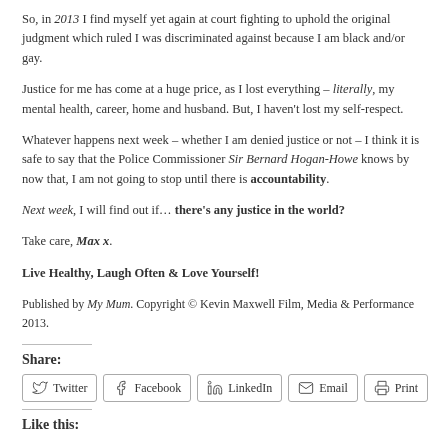So, in 2013 I find myself yet again at court fighting to uphold the original judgment which ruled I was discriminated against because I am black and/or gay.
Justice for me has come at a huge price, as I lost everything – literally, my mental health, career, home and husband. But, I haven't lost my self-respect.
Whatever happens next week – whether I am denied justice or not – I think it is safe to say that the Police Commissioner Sir Bernard Hogan-Howe knows by now that, I am not going to stop until there is accountability.
Next week, I will find out if… there's any justice in the world?
Take care, Max x.
Live Healthy, Laugh Often & Love Yourself!
Published by My Mum. Copyright © Kevin Maxwell Film, Media & Performance 2013.
Share:
Twitter Facebook LinkedIn Email Print
Like this: